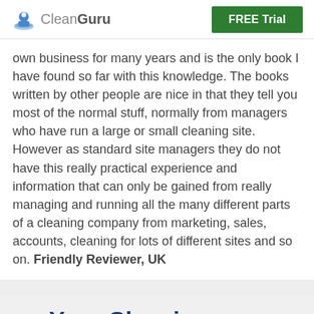CleanGuru | FREE Trial
own business for many years and is the only book I have found so far with this knowledge. The books written by other people are nice in that they tell you most of the normal stuff, normally from managers who have run a large or small cleaning site. However as standard site managers they do not have this really practical experience and information that can only be gained from really managing and running all the many different parts of a cleaning company from marketing, sales, accounts, cleaning for lots of different sites and so on. Friendly Reviewer, UK
Your Cleaning Business ALL-IN-ONE